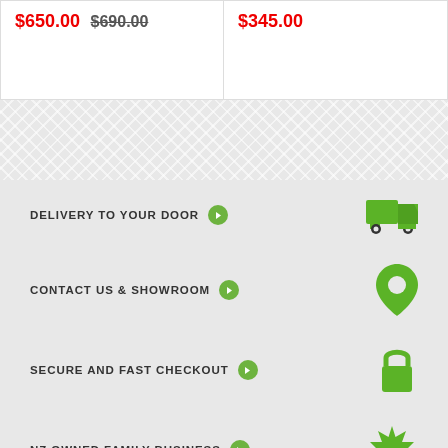$650.00 $690.00
$345.00
DELIVERY TO YOUR DOOR
CONTACT US & SHOWROOM
SECURE AND FAST CHECKOUT
NZ OWNED FAMILY BUSINESS
Quick Links